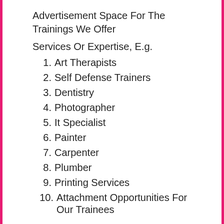Advertisement Space For The Trainings We Offer
Services Or Expertise, E.g.
1. Art Therapists
2. Self Defense Trainers
3. Dentistry
4. Photographer
5. It Specialist
6. Painter
7. Carpenter
8. Plumber
9. Printing Services
10. Attachment Opportunities For Our Trainees